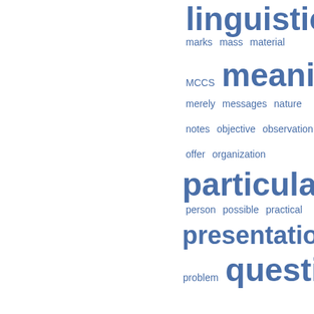[Figure (infographic): Word cloud showing educational/linguistic terms in varying sizes in blue color. Visible words include: linguistics, look, marks, mass, material, MCCS, meaning, merely, messages, nature, notes, objective, observation, offer, organization, particular, perhaps, person, possible, practical, presentation, probably, problem, question, reader, reason, references, relationship, relevant, require, rules, sense, sentences, signs, similar, simply, situation, skills, social, sometimes, sources, structure, student, suggest]